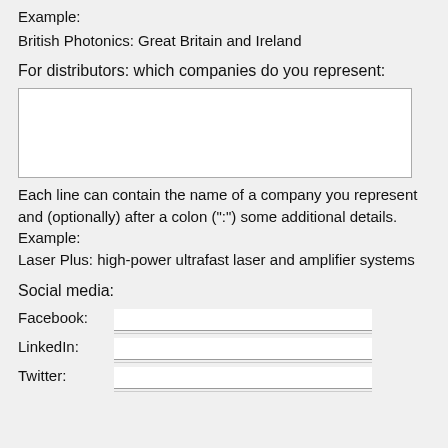Example:
British Photonics: Great Britain and Ireland
For distributors: which companies do you represent:
Each line can contain the name of a company you represent and (optionally) after a colon (":") some additional details. Example:
Laser Plus: high-power ultrafast laser and amplifier systems
Social media:
Facebook:
LinkedIn:
Twitter: